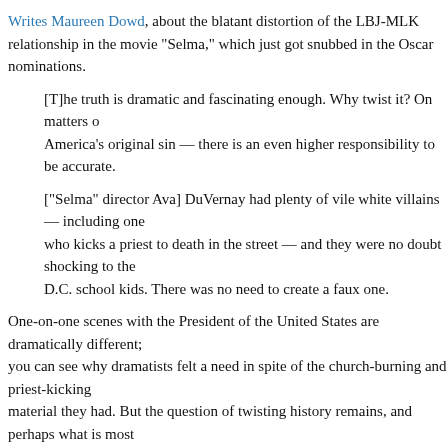Writes Maureen Dowd, about the blatant distortion of the LBJ-MLK relationship in the movie "Selma," which just got snubbed in the Oscar nominations.
[T]he truth is dramatic and fascinating enough. Why twist it? On matters of America's original sin — there is an even higher responsibility to be accurate.
["Selma" director Ava] DuVernay had plenty of vile white villains — including one who kicks a priest to death in the street — and they were no doubt shocking to the D.C. school kids. There was no need to create a faux one.
One-on-one scenes with the President of the United States are dramatically different; you can see why dramatists felt a need in spite of the church-burning and priest-kicking material they had. But the question of twisting history remains, and perhaps what is most galling is that many liberals would like to be using the 50-year anniversary of LBJ's inauguration to celebrate LBJ as a great hero.
Perhaps it's not so much that there are other villains — plenty of vile white villains — that there are so few heroes. The GOP got its "Lincoln" (though Spielberg deliberately withheld it from pre-election release in 2012). Where is the great movie-hero LBJ for the Democrats? It could have been LBJ, and with "Selma," Democrats are stuck at the opposite extreme, the would-be hero appropriated as a villain to boost the hero...